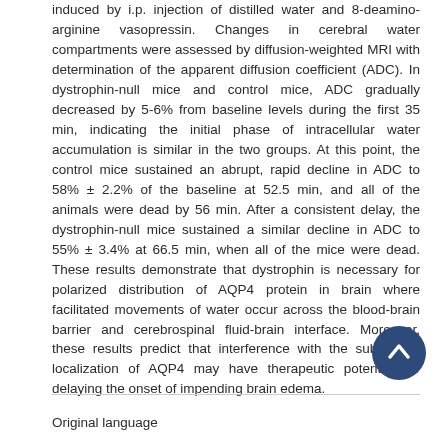induced by i.p. injection of distilled water and 8-deamino-arginine vasopressin. Changes in cerebral water compartments were assessed by diffusion-weighted MRI with determination of the apparent diffusion coefficient (ADC). In dystrophin-null mice and control mice, ADC gradually decreased by 5-6% from baseline levels during the first 35 min, indicating the initial phase of intracellular water accumulation is similar in the two groups. At this point, the control mice sustained an abrupt, rapid decline in ADC to 58% ± 2.2% of the baseline at 52.5 min, and all of the animals were dead by 56 min. After a consistent delay, the dystrophin-null mice sustained a similar decline in ADC to 55% ± 3.4% at 66.5 min, when all of the mice were dead. These results demonstrate that dystrophin is necessary for polarized distribution of AQP4 protein in brain where facilitated movements of water occur across the blood-brain barrier and cerebrospinal fluid-brain interface. Moreover, these results predict that interference with the subcellular localization of AQP4 may have therapeutic potential for delaying the onset of impending brain edema.
[Figure (other): Dark blue circular scroll-to-top button with upward chevron arrow]
Original language